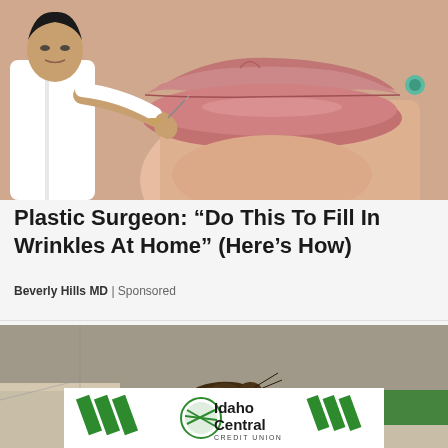[Figure (photo): A close-up of a woman's lips and lower face with a man in a white shirt using a needle or tool near her lips — cosmetic procedure illustration]
Plastic Surgeon: “Do This To Fill In Wrinkles At Home” (Here’s How)
Beverly Hills MD | Sponsored
[Figure (illustration): Illustration of a cockroach on what appears to be a green-lit surface inside a room, cartoon/diagram style]
[Figure (logo): Idaho Central Credit Union advertisement banner with green diagonal stripe logo marks]